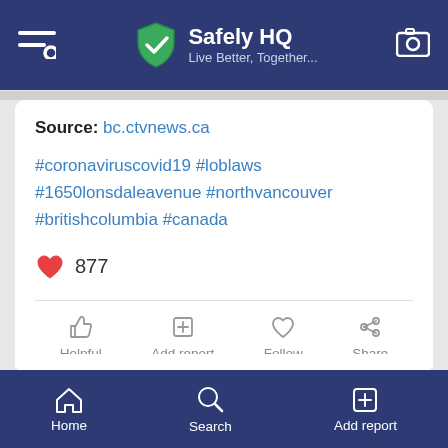Safely HQ — Live Better, Together...
Source: bc.ctvnews.ca
#coronaviruscovid19 #loblaws #1650lonsdaleavenue #northvancouver #britishcolumbia #canada
877
[Figure (screenshot): Action bar with Helpful, Add report, Follow, Share buttons]
Write a comment...
Home  Search  Add report